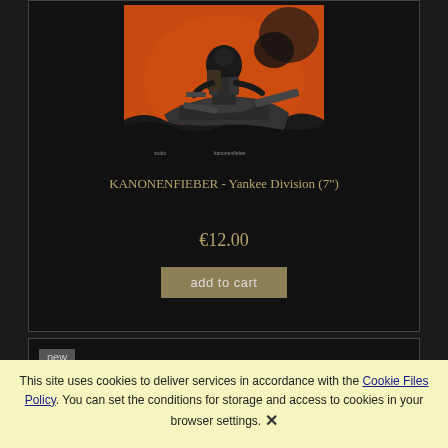[Figure (illustration): Comic-style artwork showing an armored warrior figure riding/standing on a mechanical ship or vehicle against an orange background with waves below]
KANONENFIEBER - Yankee Division (7")
€12.00
add to cart
new
This site uses cookies to deliver services in accordance with the Cookie Files Policy. You can set the conditions for storage and access to cookies in your browser settings. ✕